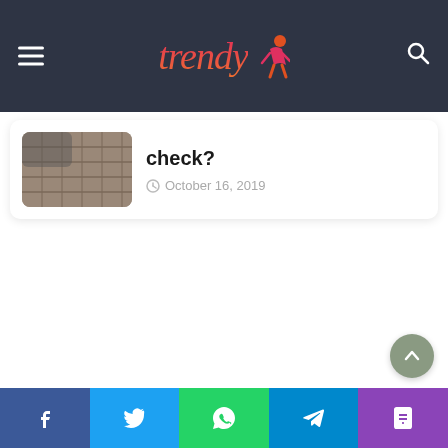Trendy [logo with figure icon]
check?
October 16, 2019
[Figure (screenshot): Website screenshot showing a Trendy lifestyle blog page with a header navigation bar (dark gray), an article card with a thumbnail image of fabric/textile on the left and article title 'check?' with date 'October 16, 2019', followed by white space, a scroll-to-top button, and a social sharing footer bar with Facebook, Twitter, WhatsApp, Telegram, and Phone icons.]